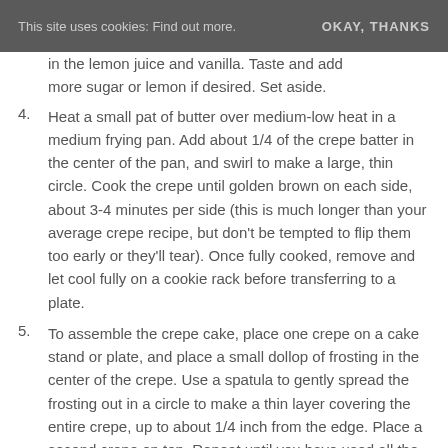This site uses cookies: Find out more.   OKAY, THANKS
(partial) ...in the lemon juice and vanilla. Taste and add more sugar or lemon if desired. Set aside.
4. Heat a small pat of butter over medium-low heat in a medium frying pan. Add about 1/4 of the crepe batter in the center of the pan, and swirl to make a large, thin circle. Cook the crepe until golden brown on each side, about 3-4 minutes per side (this is much longer than your average crepe recipe, but don't be tempted to flip them too early or they'll tear). Once fully cooked, remove and let cool fully on a cookie rack before transferring to a plate.
5. To assemble the crepe cake, place one crepe on a cake stand or plate, and place a small dollop of frosting in the center of the crepe. Use a spatula to gently spread the frosting out in a circle to make a thin layer covering the entire crepe, up to about 1/4 inch from the edge. Place a second crepe on top. Repeat until you have used all the crepes and frosting. Top with a final dollop